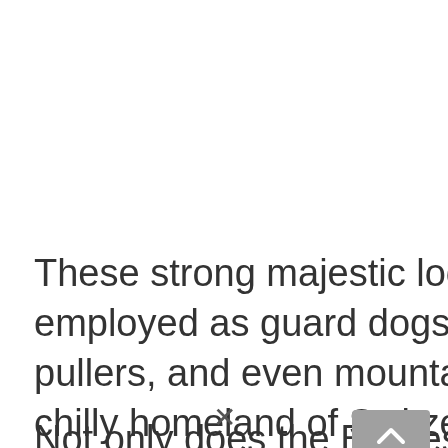These strong majestic looking dogs have been employed as guard dogs, cattle drovers, cart pullers, and even mountain rescue dogs in their chilly homeland of Switzerland.
Not only does the Bernese Mountain Dog